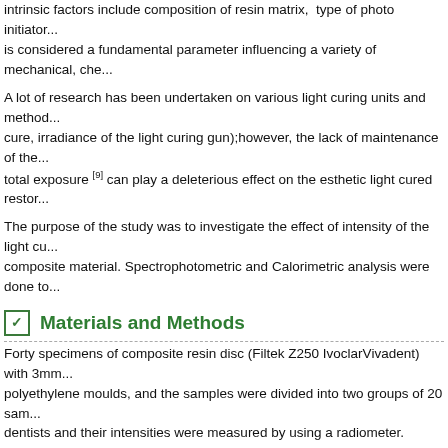intrinsic factors include composition of resin matrix, type of photo initiator... is considered a fundamental parameter influencing a variety of mechanical, che...
A lot of research has been undertaken on various light curing units and method... cure, irradiance of the light curing gun);however, the lack of maintenance of the... total exposure [9] can play a deleterious effect on the esthetic light cured restor...
The purpose of the study was to investigate the effect of intensity of the light cu... composite material. Spectrophotometric and Calorimetric analysis were done to...
Materials and Methods
Forty specimens of composite resin disc (Filtek Z250 IvoclarVivadent) with 3mm... polyethylene moulds, and the samples were divided into two groups of 20 sam... dentists and their intensities were measured by using a radiometer. (IvoclarViva... which had an intensity of 380mW/cm2 and the second group was cured with th... strips were used on the surfaces and polymerization was done according to ma... polymerization, the composite resin samples were removed from moulds, place... incubator (37±2°C) for 24 hours. Later they were individually immersed in 1 ml... 24 hours, the specimens were rinsed under running distilled water for 1 minute... specimens were immersed in new test tubes containing 1 ml of absolute alcoh... minutes at 4,000 revolutions per minute, and the supernatant was used to dete... at 590 nm.